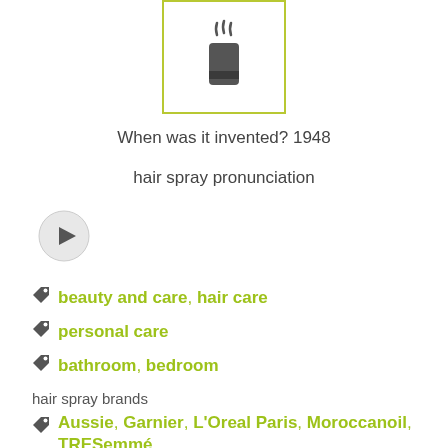[Figure (illustration): Hair spray can icon with steam lines, displayed inside a yellow-green bordered box]
When was it invented? 1948
hair spray pronunciation
[Figure (other): Audio play button (circle with right-pointing triangle)]
beauty and care, hair care
personal care
bathroom, bedroom
hair spray brands
Aussie, Garnier, L'Oreal Paris, Moroccanoil, TRESemmé